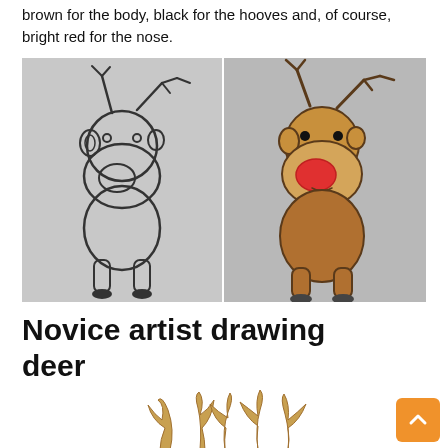brown for the body, black for the hooves and, of course, bright red for the nose.
[Figure (illustration): Two side-by-side drawings of a cartoon reindeer. Left: an outline/line-art version in black and white on gray background. Right: a colored version with brown body, dark brown antlers, black hooves, and a bright red nose, on gray background.]
Novice artist drawing deer
[Figure (illustration): Partial image at bottom of page showing antlers of a realistic deer drawing with tan/brown coloring on white background.]